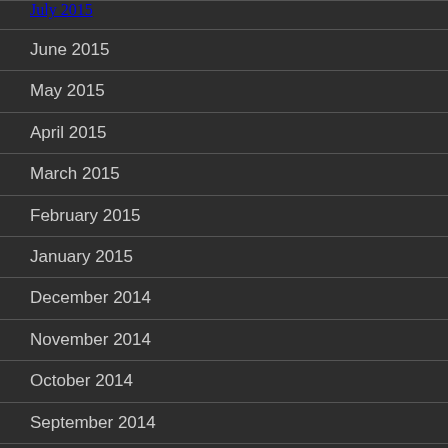July 2015
June 2015
May 2015
April 2015
March 2015
February 2015
January 2015
December 2014
November 2014
October 2014
September 2014
July 2014